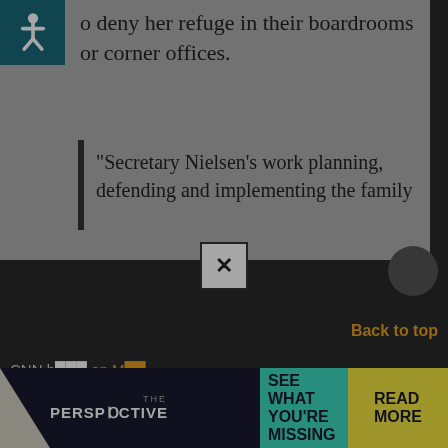o deny her refuge in their boardrooms or corner offices.
“Secretary Nielsen’s work planning, defending and implementing the family
[Figure (screenshot): Modal popup with yellow background for Morning Insurrection newsletter signup]
Morn·ing In·sur·rec·tion
Get the latest news from Legal Insurrection, plus exclusive content, direct to your inbox every morning. Subscribe today – it’s free!
JOIN NOW
CNN b ... on M...
deserves":
[Figure (screenshot): The Perspective advertisement banner with teal and yellow sections reading SEE WHAT YOU'RE MISSING / READ MORE]